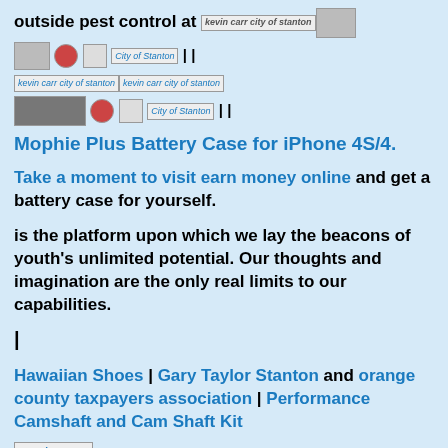outside pest control at [kevin carr city of stanton] [images]
[Figure (other): Row of small thumbnail images and icons: a photo thumbnail, a red circle icon, a list icon, and a broken image link for City of Stanton]
[Figure (other): Two broken image links for kevin carr city of stanton]
[Figure (other): Row of small thumbnail images and icons followed by City of Stanton broken link]
Mophie Plus Battery Case for iPhone 4S/4.
Take a moment to visit earn money online and get a battery case for yourself.
is the platform upon which we lay the beacons of youth's unlimited potential. Our thoughts and imagination are the only real limits to our capabilities.
|
Hawaiian Shoes | Gary Taylor Stanton and orange county taxpayers association | Performance Camshaft and Cam Shaft Kit
[Figure (other): Broken image link: Kevin Carr]